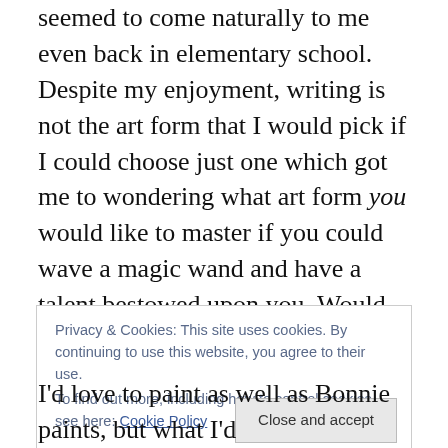seemed to come naturally to me even back in elementary school. Despite my enjoyment, writing is not the art form that I would pick if I could choose just one which got me to wondering what art form you would like to master if you could wave a magic wand and have a talent bestowed upon you. Would you be a poet? A pianist? A painter? How about a dancer or actor? Anyone out there want to be the guy who can look at a cedar log, fire up a chain saw, and after a couple of hours of making the wood chips fly, render forth the exact likeness of the entire Duck Dynasty cast?
Privacy & Cookies: This site uses cookies. By continuing to use this website, you agree to their use. To find out more, including how to control cookies, see here: Cookie Policy
I'd love to paint as well as Bonnie paints, but what I'd